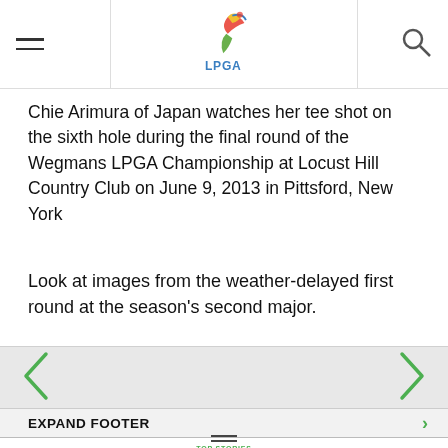LPGA
Chie Arimura of Japan watches her tee shot on the sixth hole during the final round of the Wegmans LPGA Championship at Locust Hill Country Club on June 9, 2013 in Pittsford, New York
Look at images from the weather-delayed first round at the season's second major.
[Figure (other): Image carousel with left and right navigation arrows on a light gray background]
EXPAND FOOTER
TOP STORIES